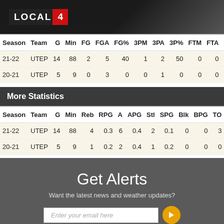LOCAL 4
| Season | Team | G | Min | FG | FGA | FG% | 3PM | 3PA | 3P% | FTM | FTA | FT% | P |
| --- | --- | --- | --- | --- | --- | --- | --- | --- | --- | --- | --- | --- | --- |
| 21-22 | UTEP | 14 | 88 | 2 | 5 | 40 | 1 | 2 | 50 | 0 | 0 | - |
| 20-21 | UTEP | 5 | 9 | 0 | 3 | 0 | 0 | 1 | 0 | 0 | 0 | - |
More Statistics
| Season | Team | G | Min | Reb | RPG | A | APG | Stl | SPG | Blk | BPG | TO | PF |
| --- | --- | --- | --- | --- | --- | --- | --- | --- | --- | --- | --- | --- | --- |
| 21-22 | UTEP | 14 | 88 | 4 | 0.3 | 6 | 0.4 | 2 | 0.1 | 0 | 0 | 3 | 12 |
| 20-21 | UTEP | 5 | 9 | 1 | 0.2 | 2 | 0.4 | 1 | 0.2 | 0 | 0 | 0 | 1 |
Get Alerts
Want the latest news and weather updates?
Enter your email here